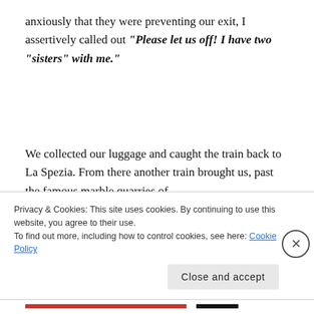anxiously that they were preventing our exit, I assertively called out "Please let us off! I have two "sisters" with me."
We collected our luggage and caught the train back to La Spezia. From there another train brought us, past the famous marble quarries of
Privacy & Cookies: This site uses cookies. By continuing to use this website, you agree to their use.
To find out more, including how to control cookies, see here: Cookie Policy
Close and accept